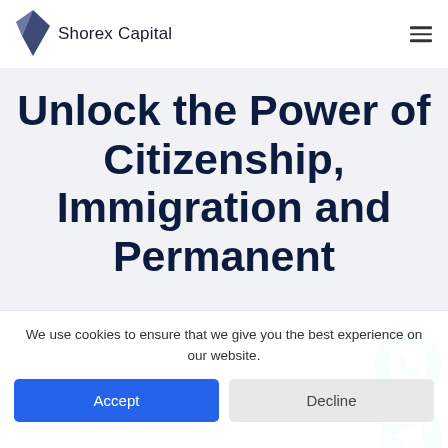[Figure (logo): Shorex Capital logo: dark blue geometric kite/arrow shape icon followed by text 'Shorex Capital' in dark navy sans-serif]
Unlock the Power of Citizenship, Immigration and Permanent
[Figure (illustration): Green WhatsApp circular button icon on the right side]
[Figure (illustration): Blue Telegram circular button icon on the right side, partially visible]
We use cookies to ensure that we give you the best experience on our website.
Accept
Decline